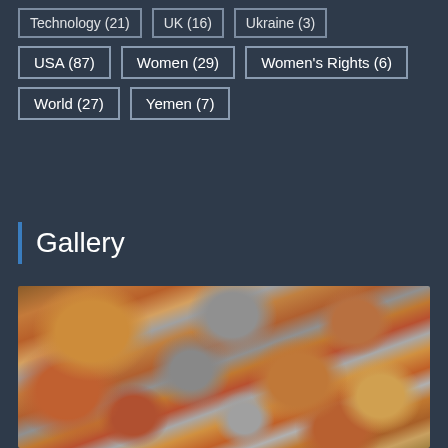Technology (21)
UK (16)
Ukraine (3)
USA (87)
Women (29)
Women's Rights (6)
World (27)
Yemen (7)
Gallery
[Figure (photo): A pile of mixed coins including copper, bronze, and silver coins scattered together, photographed from above at close range.]